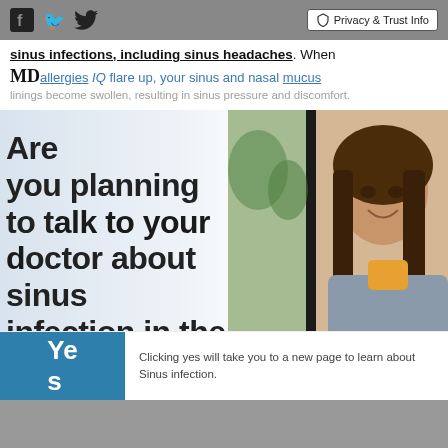Privacy & Trust Info
sinus infections, including sinus headaches. When
MD allergies IQ flare up, your sinus and nasal mucus linings become swollen, resulting in sinus pressure and discomfort.
Are you planning to talk to your doctor about sinus infection in the next 30 days?
[Figure (photo): Photo of a smiling woman holding an orange cup near a window with green plants in background]
Yes
Clicking yes will take you to a new page to learn about Sinus infection.